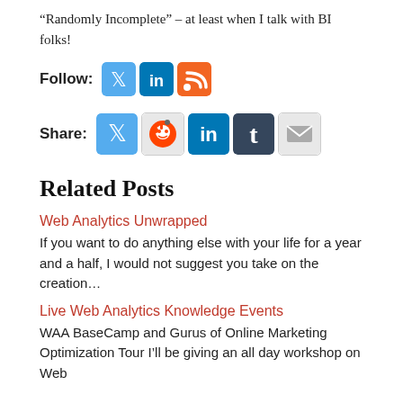“Randomly Incomplete” – at least when I talk with BI folks!
Follow:
[Figure (infographic): Twitter, LinkedIn, and RSS social media follow icons]
Share:
[Figure (infographic): Twitter, Reddit, LinkedIn, Tumblr, and Email social media share icons]
Related Posts
Web Analytics Unwrapped
If you want to do anything else with your life for a year and a half, I would not suggest you take on the creation…
Live Web Analytics Knowledge Events
WAA BaseCamp and Gurus of Online Marketing Optimization Tour I’ll be giving an all day workshop on Web